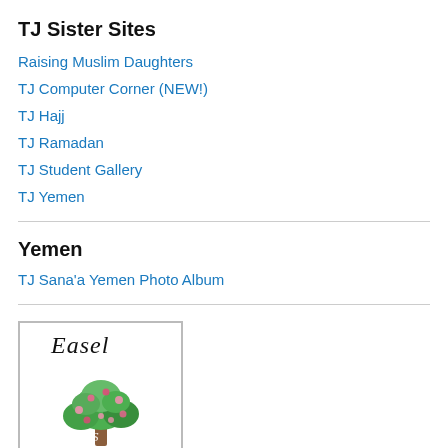TJ Sister Sites
Raising Muslim Daughters
TJ Computer Corner (NEW!)
TJ Hajj
TJ Ramadan
TJ Student Gallery
TJ Yemen
Yemen
TJ Sana'a Yemen Photo Album
[Figure (illustration): Easel logo with decorative script text 'Easel' and a flowering tree illustration below it, inside a bordered frame]